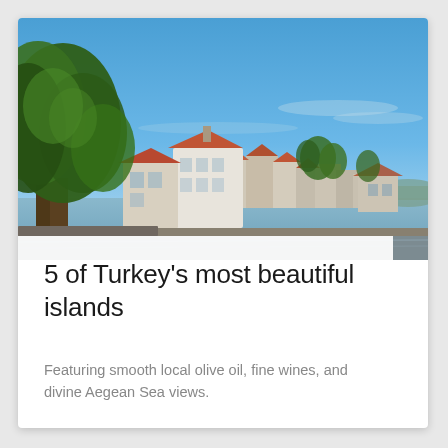[Figure (photo): Coastal town scene with white and terracotta-roofed buildings along a waterfront, large green trees on the left, bright blue sky above, distant water and headland visible on the right.]
5 of Turkey's most beautiful islands
Featuring smooth local olive oil, fine wines, and divine Aegean Sea views.